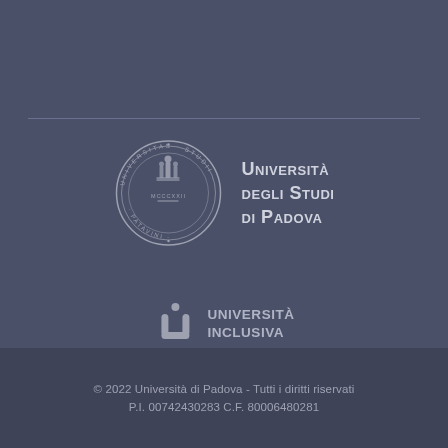[Figure (logo): Università degli Studi di Padova seal and name logo]
[Figure (logo): Università Inclusiva logo with stylized figure icon]
[Figure (logo): HR Excellence in Research logo with stylized figure icon]
© 2022 Università di Padova - Tutti i diritti riservati
P.I. 00742430283 C.F. 80006480281